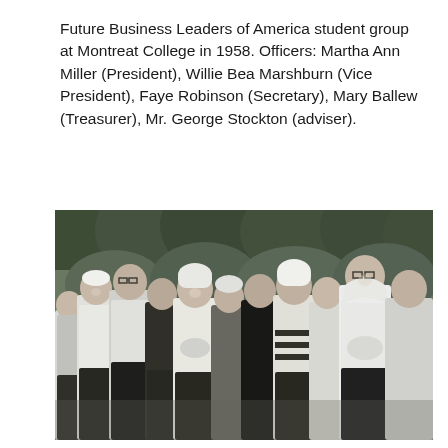Future Business Leaders of America student group at Montreat College in 1958. Officers: Martha Ann Miller (President), Willie Bea Marshburn (Vice President), Faye Robinson (Secretary), Mary Ballew (Treasurer), Mr. George Stockton (adviser).
[Figure (photo): Black and white photograph of the Future Business Leaders of America student group at Montreat College in 1958. A group of young women wearing Montreat college sweatshirts and winter hats are standing outdoors, smiling at the camera, with trees in the background.]